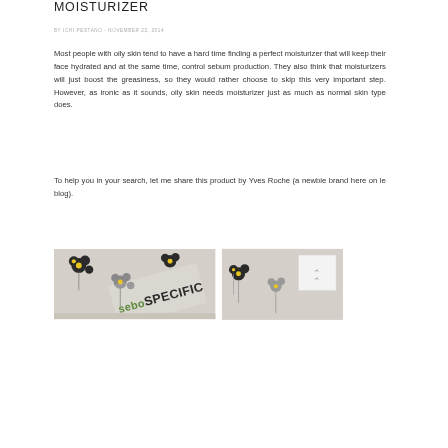MOISTURIZER
BY ICHI PESTANO - NOVEMBER 23, 2014
Most people with oily skin tend to have a hard time finding a perfect moisturizer that will keep their face hydrated and at the same time, control sebum production. They also think that moisturizers will just boost the greasiness, so they would rather choose to skip this very important step. However, as ironic as it sounds, oily skin needs moisturizer just as much as normal skin type does.
To help you in your search, let me share this product by Yves Roche (a newbie brand here on le blog).
[Figure (photo): Product photo showing seboSPECIFIC moisturizer packaging with floral pattern background featuring black and yellow flowers]
[Figure (photo): Partial product photo with floral background and back-to-top button overlay with chevron arrows]